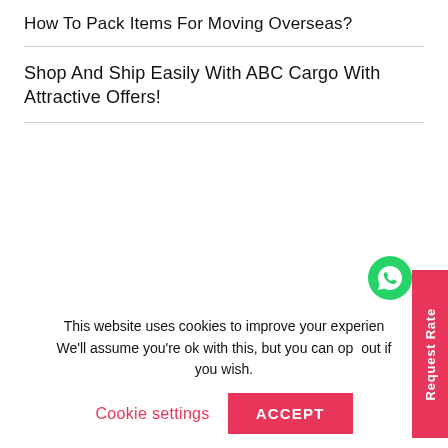How To Pack Items For Moving Overseas?
Shop And Ship Easily With ABC Cargo With Attractive Offers!
Our Branches
This website uses cookies to improve your experience. We'll assume you're ok with this, but you can opt out if you wish.
Cookie settings   ACCEPT